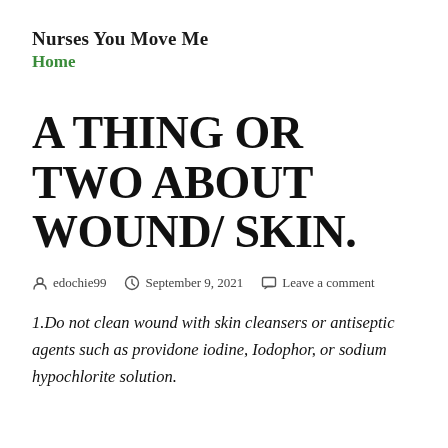Nurses You Move Me
Home
A THING OR TWO ABOUT WOUND/ SKIN.
edochie99   September 9, 2021   Leave a comment
1.Do not clean wound with skin cleansers or antiseptic agents such as providone iodine, Iodophor, or sodium hypochlorite solution.